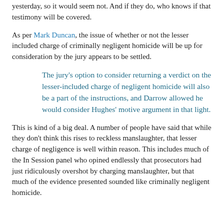yesterday, so it would seem not. And if they do, who knows if that testimony will be covered.
As per Mark Duncan, the issue of whether or not the lesser included charge of criminally negligent homicide will be up for consideration by the jury appears to be settled.
The jury's option to consider returning a verdict on the lesser-included charge of negligent homicide will also be a part of the instructions, and Darrow allowed he would consider Hughes' motive argument in that light.
This is kind of a big deal. A number of people have said that while they don't think this rises to reckless manslaughter, that lesser charge of negligence is well within reason. This includes much of the In Session panel who opined endlessly that prosecutors had just ridiculously overshot by charging manslaughter, but that much of the evidence presented sounded like criminally negligent homicide.